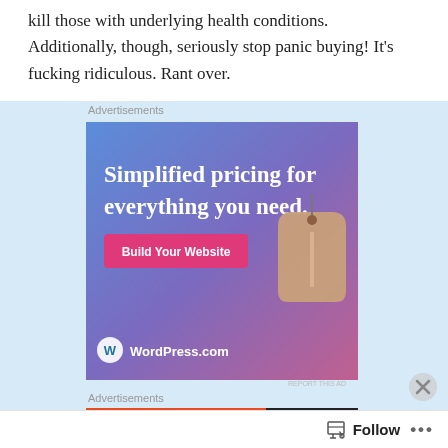kill those with underlying health conditions. Additionally, though, seriously stop panic buying! It's fucking ridiculous. Rant over.
Advertisements
[Figure (illustration): WordPress.com advertisement with gradient blue-purple background, text 'Simplified pricing for everything you need.', a pink 'Build Your Website' button, a price tag graphic, and WordPress.com logo at the bottom.]
Advertisements
[Figure (illustration): Bottom advertisement banner with orange background and text 'Search, browse, and email' partially visible, with a circular logo icon.]
Follow  •••